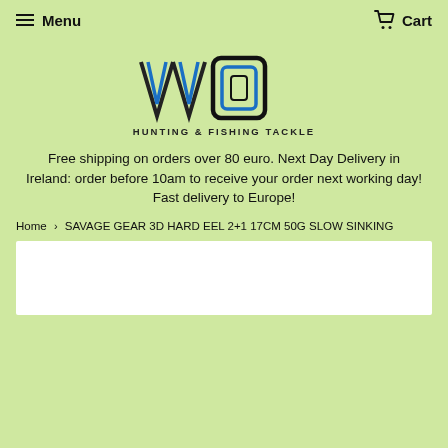Menu  Cart
[Figure (logo): VVD Hunting & Fishing Tackle logo — stylized VVD letters in black and blue with text 'HUNTING & FISHING TACKLE' below]
Free shipping on orders over 80 euro. Next Day Delivery in Ireland: order before 10am to receive your order next working day! Fast delivery to Europe!
Home › SAVAGE GEAR 3D HARD EEL 2+1 17CM 50G SLOW SINKING
[Figure (photo): Product image area (white box, partially visible)]